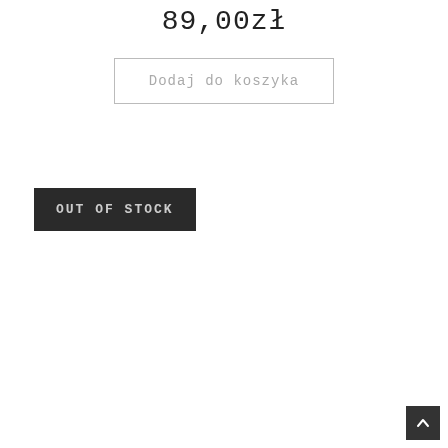89,00zł
Dodaj do koszyka
OUT OF STOCK